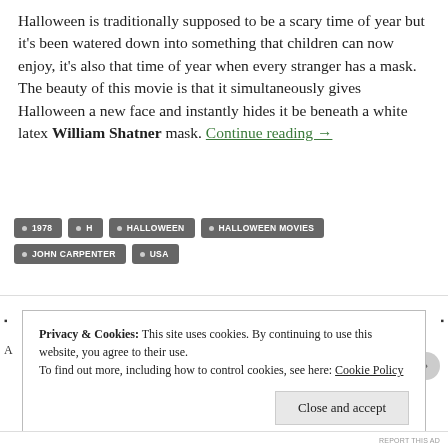Halloween is traditionally supposed to be a scary time of year but it's been watered down into something that children can now enjoy, it's also that time of year when every stranger has a mask. The beauty of this movie is that it simultaneously gives Halloween a new face and instantly hides it be beneath a white latex William Shatner mask. Continue reading →
• 1978
• H
• HALLOWEEN
• HALLOWEEN MOVIES
• JOHN CARPENTER
• USA
Privacy & Cookies: This site uses cookies. By continuing to use this website, you agree to their use.
To find out more, including how to control cookies, see here: Cookie Policy
Close and accept
REPORT THIS AD